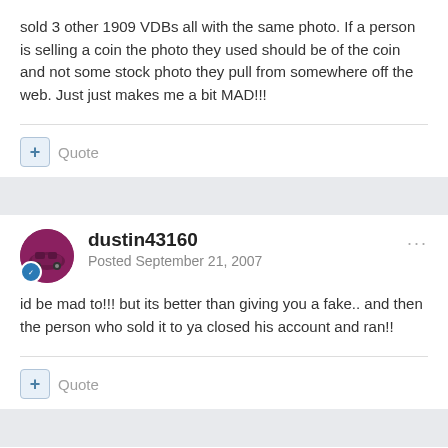sold 3 other 1909 VDBs all with the same photo. If a person is selling a coin the photo they used should be of the coin and not some stock photo they pull from somewhere off the web. Just just makes me a bit MAD!!!
+ Quote
dustin43160
Posted September 21, 2007
id be mad to!!! but its better than giving you a fake.. and then the person who sold it to ya closed his account and ran!!
+ Quote